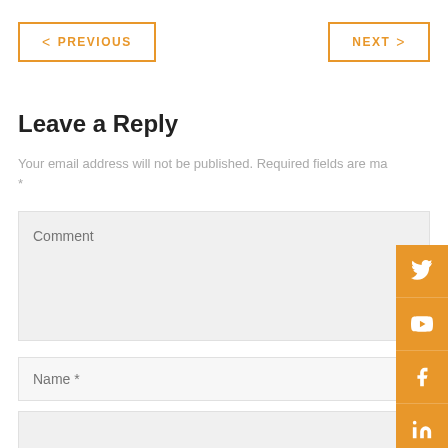< PREVIOUS
NEXT >
Leave a Reply
Your email address will not be published. Required fields are marked *
Comment
Name *